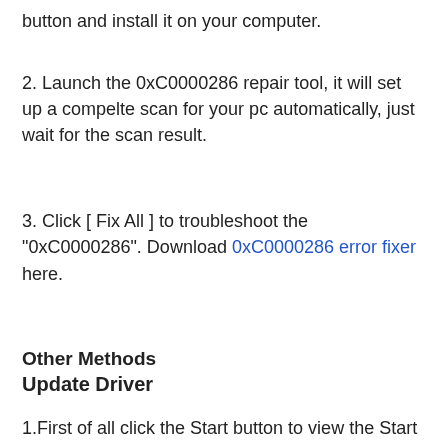button and install it on your computer.
2. Launch the 0xC0000286 repair tool, it will set up a compelte scan for your pc automatically, just wait for the scan result.
3. Click [ Fix All ] to troubleshoot the "0xC0000286". Download 0xC0000286 error fixer here.
Other Methods
Update Driver
1.First of all click the Start button to view the Start Menu. Then choose the Control Panel option.